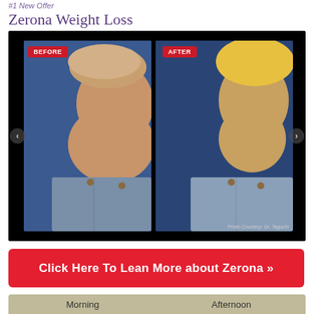Zerona Weight Loss
[Figure (photo): Before and after comparison photos showing torso/midsection of a patient. Left panel labeled BEFORE shows larger midsection wearing jeans; right panel labeled AFTER shows slimmer midsection wearing jeans. Photo Courtesy: Dr. Taguchi. Navigation arrows on left and right sides.]
Click Here To Lean More about Zerona »
| Morning | Afternoon |
| --- | --- |